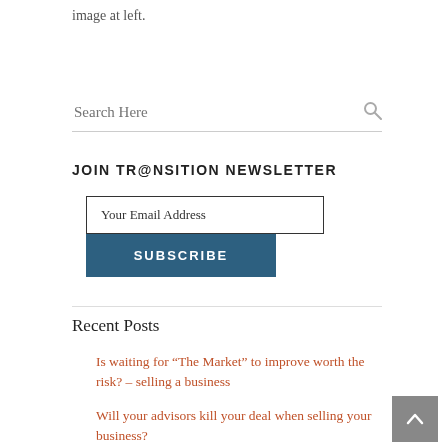image at left.
Search Here
JOIN TR@NSITION NEWSLETTER
Your Email Address
SUBSCRIBE
Recent Posts
Is waiting for “The Market” to improve worth the risk? – selling a business
Will your advisors kill your deal when selling your business?